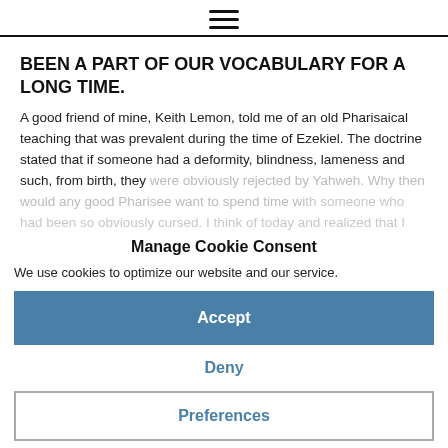≡
BEEN A PART OF OUR VOCABULARY FOR A LONG TIME.
A good friend of mine, Keith Lemon, told me of an old Pharisaical teaching that was prevalent during the time of Ezekiel. The doctrine stated that if someone had a deformity, blindness, lameness and such, from birth, they were obviously rejected by Yahweh. Why then would any good Pharisee want to spend time with someone who had been so obviously cursed. I think of today and realized that I too, at one time, had believed this to be true. No longer! Thank you Yahweh for your grace and love that teaches me! Thank you for wisdom and understanding that guide me to Your truth.
Obviously we are not talking about the biological actions of eating sour grapes. The real focus here has to do with responsibility. If I do something that causes a negative effect (eat a sour grape) then I am the one who will receive that effect, not my children. Still I am challenged as I think of my own family. As my daughter grew, I see the beautiful and unique woman of Yahweh she was becoming. At the same time, I watched as she
Manage Cookie Consent
We use cookies to optimize our website and our service.
Accept
Deny
Preferences